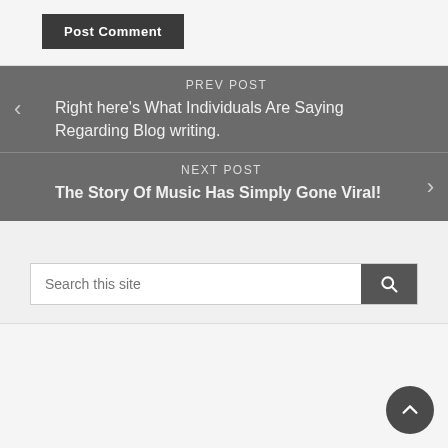Post Comment
PREV POST
Right here's What Individuals Are Saying Regarding Blog writing.
NEXT POST
The Story Of Music Has Simply Gone Viral!
Search this site